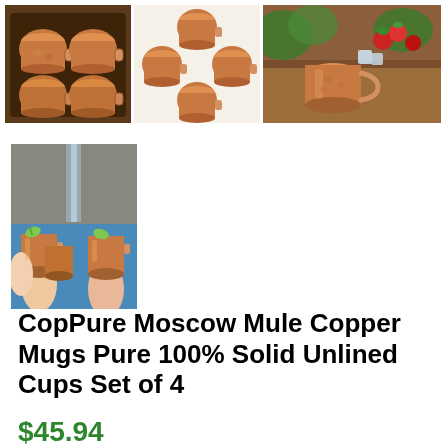[Figure (photo): Four copper Moscow Mule mugs in a gift box set, hammered finish, arranged in a dark tray]
[Figure (photo): Four copper Moscow Mule mugs arranged in a cross/star pattern viewed from above, hammered finish]
[Figure (photo): Copper Moscow Mule mug on wooden table with ice, strawberries and mint garnish in background]
[Figure (photo): People clinking four copper Moscow Mule mugs with lime garnish outdoors near water]
CopPure Moscow Mule Copper Mugs Pure 100% Solid Unlined Cups Set of 4
$45.94